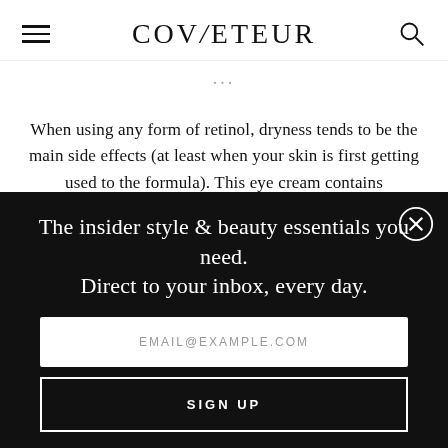COVETEUR
When using any form of retinol, dryness tends to be the main side effects (at least when your skin is first getting used to the formula). This eye cream contains hyaluronic acid of various molecular weights, meaning that it draws an intense amount of hydration into the
[Figure (screenshot): Modal popup newsletter signup overlay on dark background with close button, headline text, email input field, and sign up button]
The insider style & beauty essentials you need. Direct to your inbox, every day.
EMAIL@EXAMPLE.COM
SIGN UP